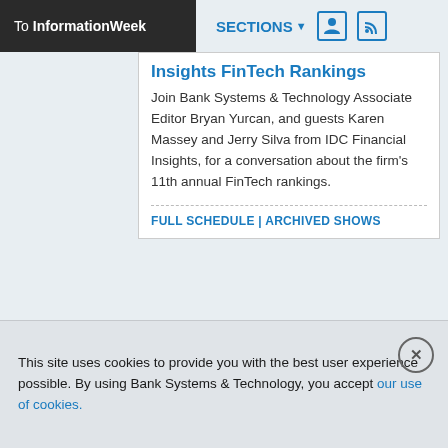To InformationWeek   SECTIONS ▼
Insights FinTech Rankings
Join Bank Systems & Technology Associate Editor Bryan Yurcan, and guests Karen Massey and Jerry Silva from IDC Financial Insights, for a conversation about the firm's 11th annual FinTech rankings.
FULL SCHEDULE | ARCHIVED SHOWS
InformationWeek
This site uses cookies to provide you with the best user experience possible. By using Bank Systems & Technology, you accept our use of cookies.